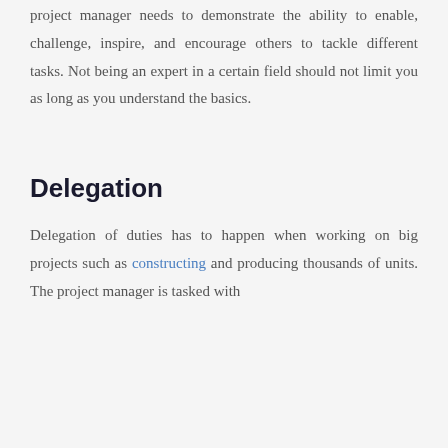project manager needs to demonstrate the ability to enable, challenge, inspire, and encourage others to tackle different tasks. Not being an expert in a certain field should not limit you as long as you understand the basics.
Delegation
Delegation of duties has to happen when working on big projects such as constructing and producing thousands of units. The project manager is tasked with